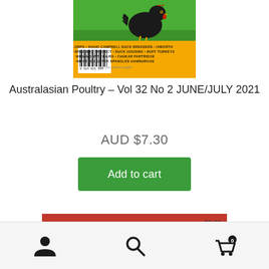[Figure (illustration): Magazine cover of Australasian Poultry Vol 32 No 2 JUNE/JULY 2021. Yellow background with black chicken on green grass at top, barcode bottom left, text listing topics: Australorps, Khaki Campbell Duck Breeders, Ixworth, Leghorn Breeding Project, Duck Housing, Buff Turkeys, Winning with Pairs, Chukar Partridge, Imported Silver Spangled Hamburghs.]
Australasian Poultry – Vol 32 No 2 JUNE/JULY 2021
AUD $7.30
Add to cart
[Figure (screenshot): Partial view of next product listing strip showing red background and price $7.30]
[Figure (other): Bottom navigation bar with user account icon, search icon, and shopping cart icon with badge showing 0]